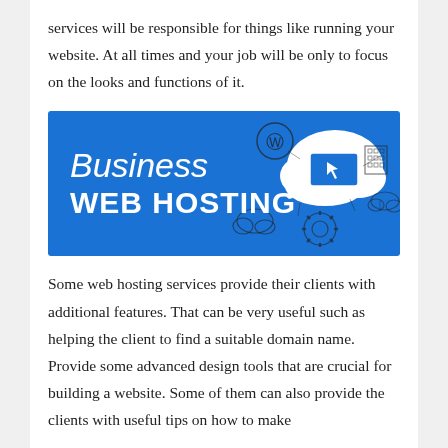services will be responsible for things like running your website. At all times and your job will be only to focus on the looks and functions of it.
[Figure (infographic): Blue banner for Business Web Hosting with cloud and tech icons on the right side]
Some web hosting services provide their clients with additional features. That can be very useful such as helping the client to find a suitable domain name. Provide some advanced design tools that are crucial for building a website. Some of them can also provide the clients with useful tips on how to make